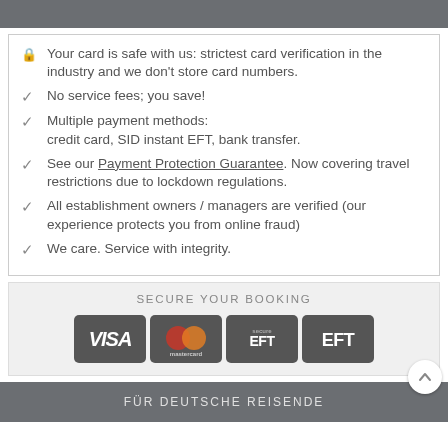Your card is safe with us: strictest card verification in the industry and we don't store card numbers.
No service fees; you save!
Multiple payment methods: credit card, SID instant EFT, bank transfer.
See our Payment Protection Guarantee. Now covering travel restrictions due to lockdown regulations.
All establishment owners / managers are verified (our experience protects you from online fraud)
We care. Service with integrity.
SECURE YOUR BOOKING
[Figure (logo): Payment method logos: VISA, Mastercard, Secure EFT, EFT]
FÜR DEUTSCHE REISENDE